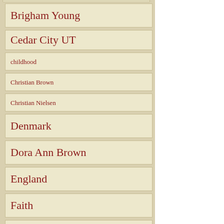Brigham Young
Cedar City UT
childhood
Christian Brown
Christian Nielsen
Denmark
Dora Ann Brown
England
Faith
Farming
Hannah Dortha Brown
Hans Brown